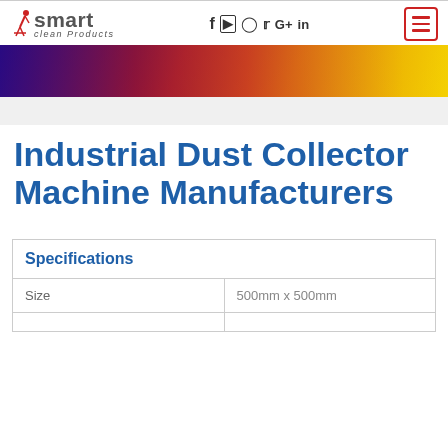smart clean products — social icons — menu button
[Figure (photo): Colorful gradient banner strip transitioning from purple/blue on left to red, orange, yellow on right, with industrial background imagery]
Industrial Dust Collector Machine Manufacturers
| Specifications |  |
| --- | --- |
| Size | 500mm x 500mm |
|  |  |